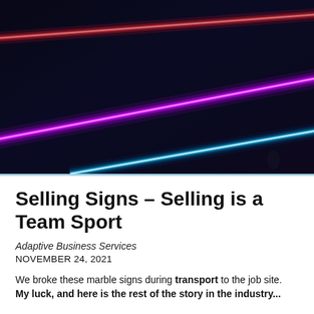[Figure (photo): Dark background with three diagonal neon light streaks: red in the upper left, purple/magenta in the middle, and light blue/cyan in the lower right.]
Selling Signs – Selling is a Team Sport
Adaptive Business Services
NOVEMBER 24, 2021
We broke these marble signs during transport to the job site. My luck, and here is the rest of the story in the industry...